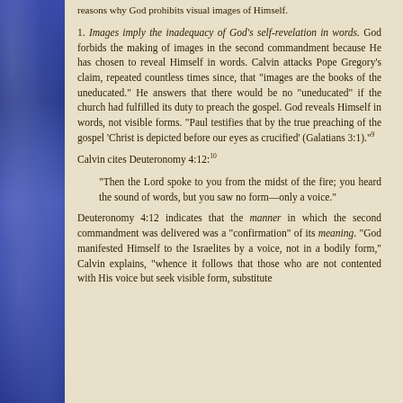reasons why God prohibits visual images of Himself.
1. Images imply the inadequacy of God’s self-revelation in words. God forbids the making of images in the second commandment because He has chosen to reveal Himself in words. Calvin attacks Pope Gregory’s claim, repeated countless times since, that “images are the books of the uneducated.” He answers that there would be no “uneducated” if the church had fulfilled its duty to preach the gospel. God reveals Himself in words, not visible forms. “Paul testifies that by the true preaching of the gospel ‘Christ is depicted before our eyes as crucified’ (Galatians 3:1).”⁹
Calvin cites Deuteronomy 4:12:¹⁰
“Then the Lord spoke to you from the midst of the fire; you heard the sound of words, but you saw no form—only a voice.”
Deuteronomy 4:12 indicates that the manner in which the second commandment was delivered was a “confirmation” of its meaning. “God manifested Himself to the Israelites by a voice, not in a bodily form,” Calvin explains, “whence it follows that those who are not contented with His voice but seek visible form, substitute...